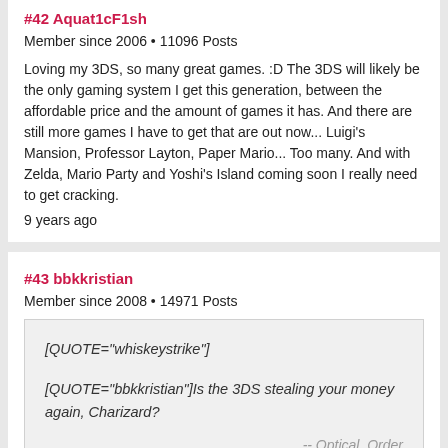#42 Aquat1cF1sh
Member since 2006 • 11096 Posts
Loving my 3DS, so many great games. :D The 3DS will likely be the only gaming system I get this generation, between the affordable price and the amount of games it has. And there are still more games I have to get that are out now... Luigi's Mansion, Professor Layton, Paper Mario... Too many. And with Zelda, Mario Party and Yoshi's Island coming soon I really need to get cracking.
9 years ago
#43 bbkkristian
Member since 2008 • 14971 Posts
[QUOTE="whiskeystrike"]

[QUOTE="bbkkristian"]Is the 3DS stealing your money again, Charizard?

-- Optical_Order